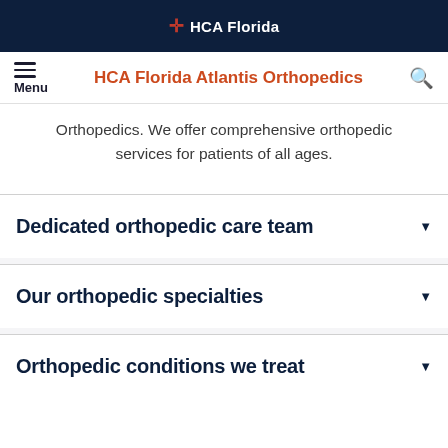HCA Florida
HCA Florida Atlantis Orthopedics
Orthopedics. We offer comprehensive orthopedic services for patients of all ages.
Dedicated orthopedic care team
Our orthopedic specialties
Orthopedic conditions we treat